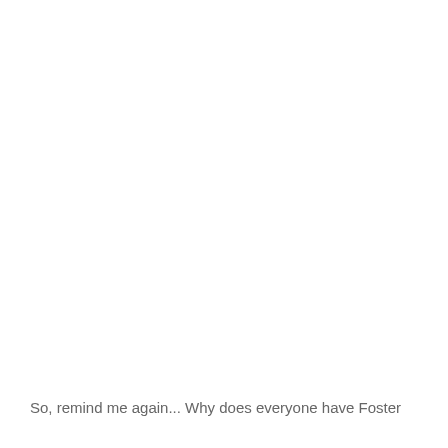So, remind me again... Why does everyone have Foster